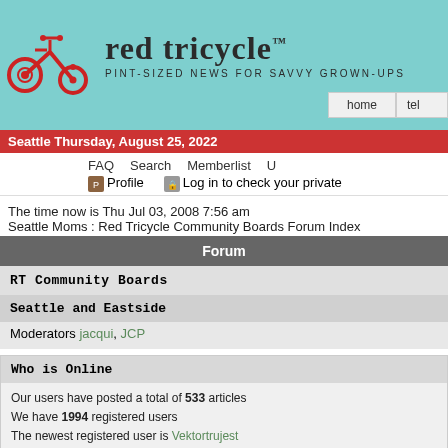[Figure (logo): Red Tricycle website header with red tricycle illustration, site name 'red tricycle' and tagline 'PINT-SIZED NEWS FOR SAVVY GROWN-UPS' on teal background, with home and tel navigation buttons]
Seattle Thursday, August 25, 2022
FAQ  Search  Memberlist  U
Profile  Log in to check your private
The time now is Thu Jul 03, 2008 7:56 am
Seattle Moms : Red Tricycle Community Boards Forum Index
| Forum |
| --- |
| RT Community Boards |
| Seattle and Eastside |
| Moderators jacqui, JCP |
Who is Online
Our users have posted a total of 533 articles
We have 1994 registered users
The newest registered user is Vektortrujest
In total there are 2 users online :: 0 Registered, 0 Hidden and 2 Guests  [ Administrator ] [ Moderator ]
Most users ever online was 35 on Thu Nov 15, 2007 5:02 pm
Registered Users: None
This data is based on users active over the past five minutes